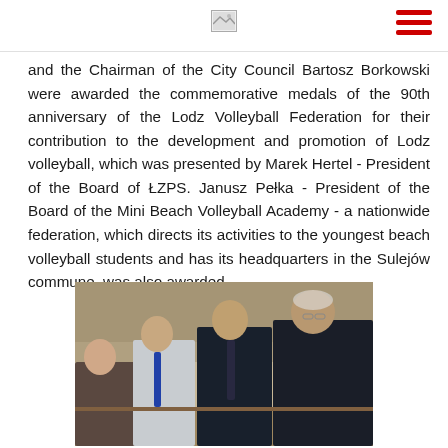[Logo] [Navigation menu]
and the Chairman of the City Council Bartosz Borkowski were awarded the commemorative medals of the 90th anniversary of the Lodz Volleyball Federation for their contribution to the development and promotion of Lodz volleyball, which was presented by Marek Hertel - President of the Board of ŁZPS. Janusz Pełka - President of the Board of the Mini Beach Volleyball Academy - a nationwide federation, which directs its activities to the youngest beach volleyball students and has its headquarters in the Sulejów commune, was also awarded.
[Figure (photo): Group of people seated around a table at a formal meeting or ceremony, several men in suits visible, water bottles on the table]